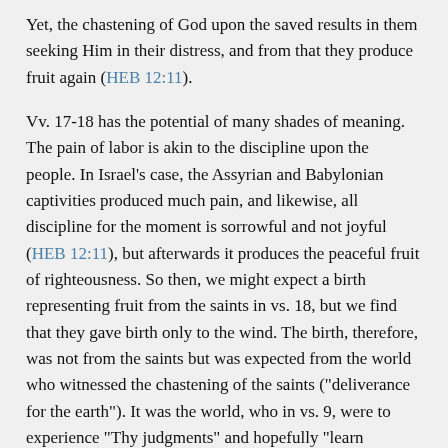Yet, the chastening of God upon the saved results in them seeking Him in their distress, and from that they produce fruit again (HEB 12:11).
Vv. 17-18 has the potential of many shades of meaning. The pain of labor is akin to the discipline upon the people. In Israel's case, the Assyrian and Babylonian captivities produced much pain, and likewise, all discipline for the moment is sorrowful and not joyful (HEB 12:11), but afterwards it produces the peaceful fruit of righteousness. So then, we might expect a birth representing fruit from the saints in vs. 18, but we find that they gave birth only to the wind. The birth, therefore, was not from the saints but was expected from the world who witnessed the chastening of the saints ("deliverance for the earth"). It was the world, who in vs. 9, were to experience "Thy judgments" and hopefully "learn righteousness." But the wicked did not. One of the judgments witnessed by the world is God's discipline of His own people, and the hope of the people of God is that they would all experience birth, but "Nor were the inhabitants of the world born."
The lack of birth from the wicked is contrasted by a miraculous birth in vs. 19 - the resurrected saints of all ages. The promise of bodily, physical resurrection gives assurance to all generations that